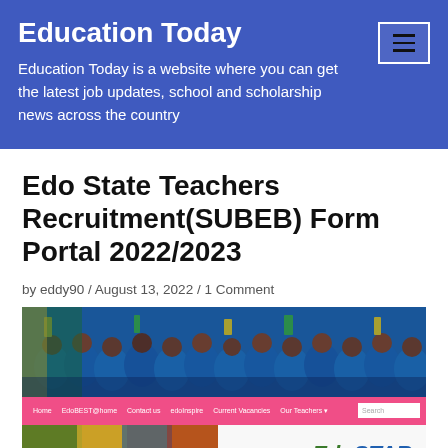Education Today
Education Today is a website where you can get the latest job updates, school and scholarship news across the country
Edo State Teachers Recruitment(SUBEB) Form Portal 2022/2023
by eddy90 / August 13, 2022 / 1 Comment
[Figure (photo): Group photo of people in blue uniforms celebrating outdoors; below is a pink navigation bar with menu items and search box; bottom shows partial screenshot of a website with EdoSTAR logo]